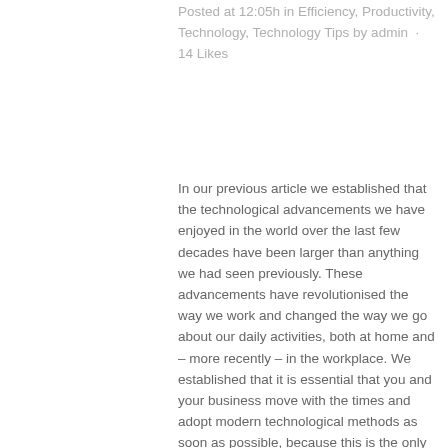Posted at 12:05h in Efficiency, Productivity, Technology, Technology Tips by admin · 14 Likes
In our previous article we established that the technological advancements we have enjoyed in the world over the last few decades have been larger than anything we had seen previously. These advancements have revolutionised the way we work and changed the way we go about our daily activities, both at home and – more recently – in the workplace. We established that it is essential that you and your business move with the times and adopt modern technological methods as soon as possible, because this is the only way you can hope to keep up with the competition and fully utilise the...